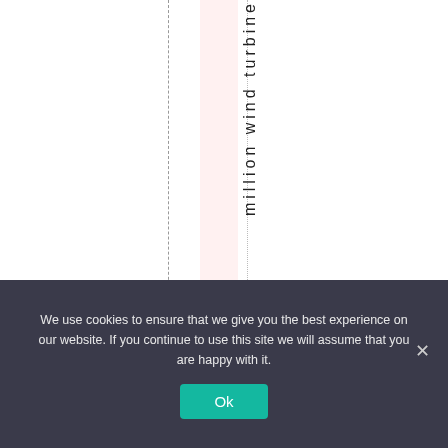[Figure (other): A white page area with two vertical dashed/dotted lines and a pink highlighted column. A vertical text string reading 'million wind turbine' (rotated 90 degrees) runs down the center of the highlighted column area.]
We use cookies to ensure that we give you the best experience on our website. If you continue to use this site we will assume that you are happy with it.
Ok